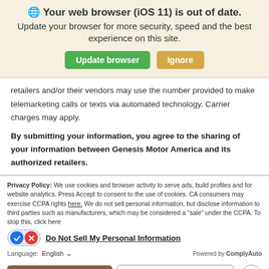🌐 Your web browser (iOS 11) is out of date. Update your browser for more security, speed and the best experience on this site.
retailers and/or their vendors may use the number provided to make telemarketing calls or texts via automated technology. Carrier charges may apply.
By submitting your information, you agree to the sharing of your information between Genesis Motor America and its authorized retailers.
Privacy Policy: We use cookies and browser activity to serve ads, build profiles and for website analytics. Press Accept to consent to the use of cookies. CA consumers may exercise CCPA rights here. We do not sell personal information, but disclose information to third parties such as manufacturers, which may be considered a "sale" under the CCPA. To stop this, click here
Do Not Sell My Personal Information
Language: English — Powered by ComplyAuto
Accept and Continue → | California Privacy Disclosures